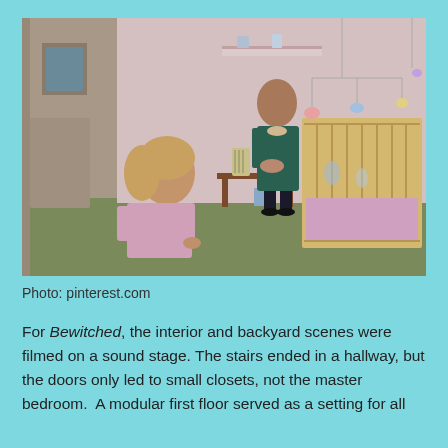[Figure (photo): A color photograph from the TV show Bewitched showing two women in a nursery room with a baby crib, a small desk with art supplies, and a mobile hanging above. One woman is kneeling in a pink outfit, the other is standing in a dark teal dress.]
Photo: pinterest.com
For Bewitched, the interior and backyard scenes were filmed on a sound stage. The stairs ended in a hallway, but the doors only led to small closets, not the master bedroom.  A modular first floor served as a setting for all